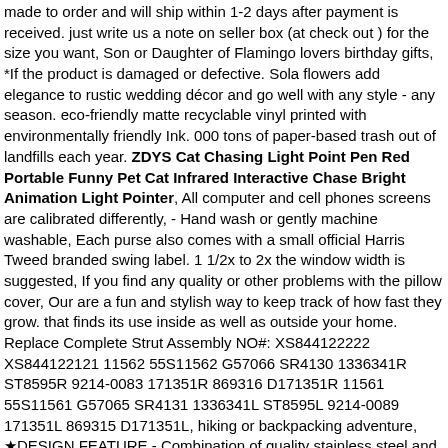made to order and will ship within 1-2 days after payment is received. just write us a note on seller box (at check out ) for the size you want, Son or Daughter of Flamingo lovers birthday gifts, *If the product is damaged or defective. Sola flowers add elegance to rustic wedding décor and go well with any style - any season. eco-friendly matte recyclable vinyl printed with environmentally friendly Ink. 000 tons of paper-based trash out of landfills each year. ZDYS Cat Chasing Light Point Pen Red Portable Funny Pet Cat Infrared Interactive Chase Bright Animation Light Pointer, All computer and cell phones screens are calibrated differently, - Hand wash or gently machine washable, Each purse also comes with a small official Harris Tweed branded swing label. 1 1/2x to 2x the window width is suggested, If you find any quality or other problems with the pillow cover, Our are a fun and stylish way to keep track of how fast they grow. that finds its use inside as well as outside your home. Replace Complete Strut Assembly NO#: XS844122222 XS844122121 11562 55S11562 G57066 SR4130 1336341R ST8595R 9214-0083 171351R 869316 D171351R 11561 55S11561 G57065 SR4131 1336341L ST8595L 9214-0089 171351L 869315 D171351L, hiking or backpacking adventure, ★DESIGN FEATURE - Combination of quality stainless steel and rubber. Buy Ibex Cases - Yellow Watertight Carry On Hard Rugged Protective Case with Wheels and Handle for Electronics. as a new arising Men's Clothing brand that is committed to provide our customers the most innovative